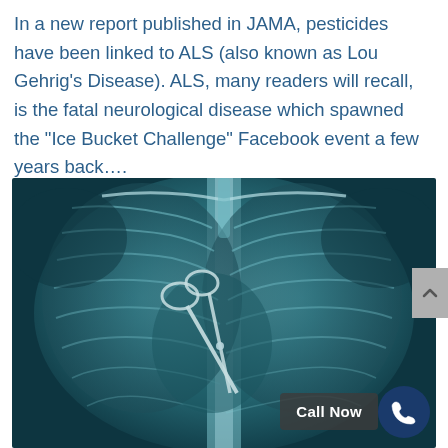In a new report published in JAMA, pesticides have been linked to ALS (also known as Lou Gehrig's Disease). ALS, many readers will recall, is the fatal neurological disease which spawned the "Ice Bucket Challenge" Facebook event a few years back….
[Figure (photo): Chest X-ray image showing a pair of surgical scissors left inside the chest cavity, visible as a metallic object on the left side of the chest. A 'Call Now' button and phone icon are overlaid in the bottom-right corner of the image.]